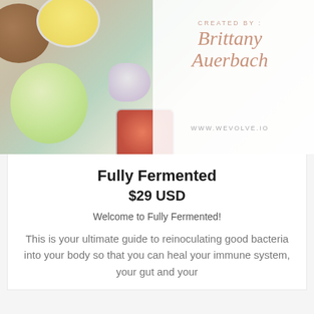[Figure (photo): Overhead food photo with fermented foods, bread, butter, oil jar, garlic, and kimchi jar, with white overlay showing 'CREATED BY: Brittany Auerbach' and 'WWW.WEVOLVE.IO']
Fully Fermented
$29 USD
Welcome to Fully Fermented!
This is your ultimate guide to reinoculating good bacteria into your body so that you can heal your immune system, your gut and your